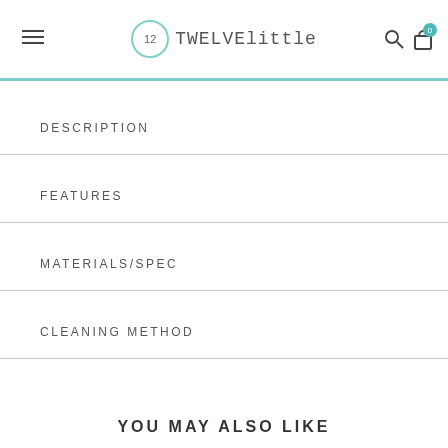12 TWELVElittle
DESCRIPTION
FEATURES
MATERIALS/SPEC
CLEANING METHOD
YOU MAY ALSO LIKE